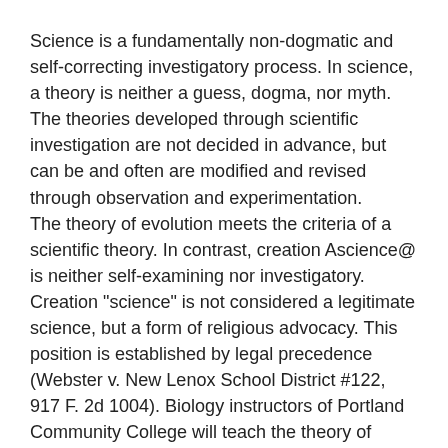Science is a fundamentally non-dogmatic and self-correcting investigatory process. In science, a theory is neither a guess, dogma, nor myth. The theories developed through scientific investigation are not decided in advance, but can be and often are modified and revised through observation and experimentation.
The theory of evolution meets the criteria of a scientific theory. In contrast, creation Ascience@ is neither self-examining nor investigatory. Creation "science" is not considered a legitimate science, but a form of religious advocacy. This position is established by legal precedence (Webster v. New Lenox School District #122, 917 F. 2d 1004). Biology instructors of Portland Community College will teach the theory of evolution not as absolute truth but as the most widely accepted scientific theory on the diversity of life. We, the Biology Subject Area Curriculum Committee at Portland Community College, therefore stand with such organizations as the National Association of Biology Teachers in opposing